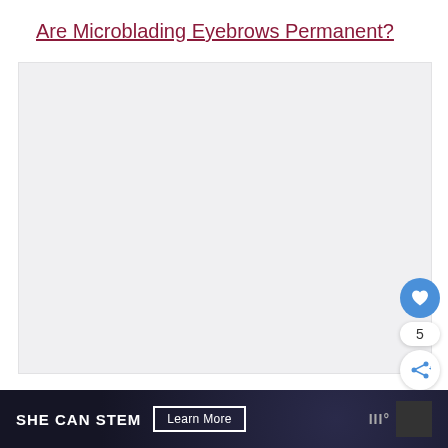Are Microblading Eyebrows Permanent?
[Figure (photo): Large light gray placeholder image area for article content about microblading eyebrows]
[Figure (infographic): Social interaction buttons: heart/like button (blue circle with heart icon), like count showing 5, share button (white circle with share icon)]
[Figure (screenshot): What's Next card showing thumbnail image and text: WHAT'S NEXT → Can You Wear Makeup Afte...]
SHE CAN STEM  Learn More